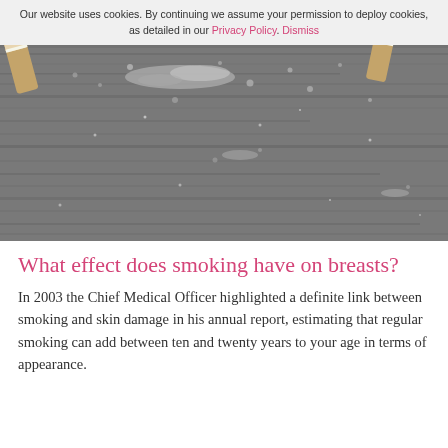Our website uses cookies. By continuing we assume your permission to deploy cookies, as detailed in our Privacy Policy. Dismiss
[Figure (photo): Close-up photograph of cigarette butts and ash on a weathered grey wooden surface]
What effect does smoking have on breasts?
In 2003 the Chief Medical Officer highlighted a definite link between smoking and skin damage in his annual report, estimating that regular smoking can add between ten and twenty years to your age in terms of appearance.